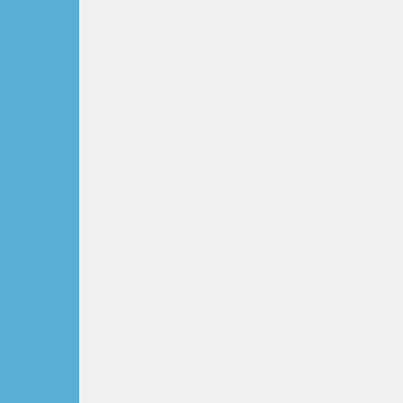Even the animals fe... And no body bother... One day I was walki... was eating it I encou... popcorn and walke... crossing the walkin... bag from me! He wa... around people, sco... laughing looking at... have been easier to... that sell food for th... everything you can...

I also have to add th... you step your feet! ... reaches the Ocean. ... and get filled with ju...

In Rishikesh, we re... and kind of a mona...